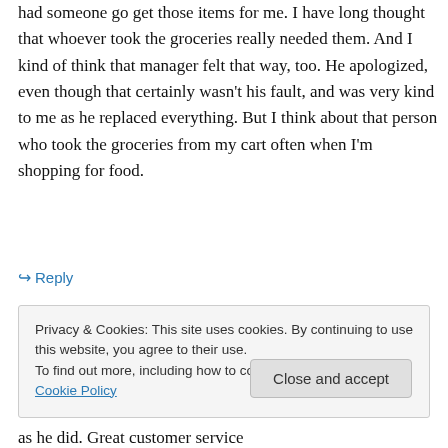had someone go get those items for me. I have long thought that whoever took the groceries really needed them. And I kind of think that manager felt that way, too. He apologized, even though that certainly wasn't his fault, and was very kind to me as he replaced everything. But I think about that person who took the groceries from my cart often when I'm shopping for food.
↳ Reply
Privacy & Cookies: This site uses cookies. By continuing to use this website, you agree to their use.
To find out more, including how to control cookies, see here: Cookie Policy
Close and accept
as he did. Great customer service